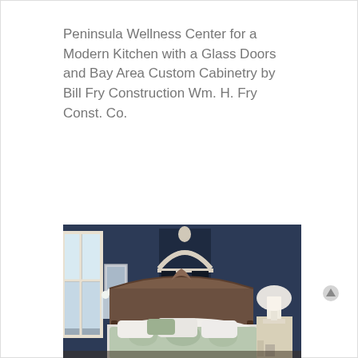Peninsula Wellness Center for a Modern Kitchen with a Glass Doors and Bay Area Custom Cabinetry by Bill Fry Construction Wm. H. Fry Const. Co.
[Figure (photo): Interior bedroom photo with navy blue walls, an arched alcove with dark curtains, an ornate wooden headboard on a bed with sage green and white patterned bedding and pillows, a white lamp on a side table, and a window with natural light on the left.]